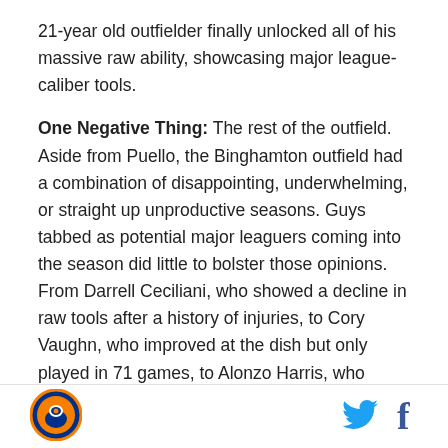21-year old outfielder finally unlocked all of his massive raw ability, showcasing major league-caliber tools.
One Negative Thing: The rest of the outfield. Aside from Puello, the Binghamton outfield had a combination of disappointing, underwhelming, or straight up unproductive seasons. Guys tabbed as potential major leaguers coming into the season did little to bolster those opinions. From Darrell Ceciliani, who showed a decline in raw tools after a history of injuries, to Cory Vaughn, who improved at the dish but only played in 71 games, to Alonzo Harris, who experienced the most extreme regression of the group, the results were largely disappointing. Travis Taijeron deserves mention as someone that defied expectations
[Figure (logo): Circular sports team logo with orange and blue colors]
[Figure (other): Twitter bird icon in blue]
[Figure (other): Facebook f icon]